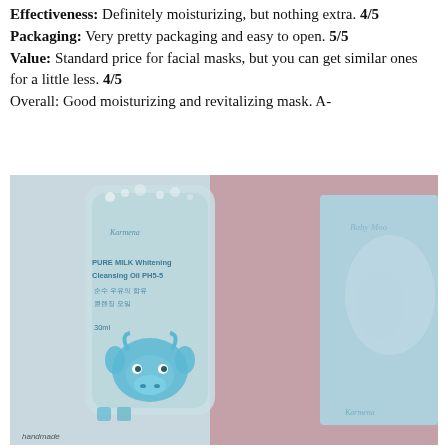Effectiveness: Definitely moisturizing, but nothing extra. 4/5
Packaging: Very pretty packaging and easy to open. 5/5
Value: Standard price for facial masks, but you can get similar ones for a little less. 4/5
Overall: Good moisturizing and revitalizing mask. A-
[Figure (photo): A bottle of PURE MILK Whitening Cleansing Oil PH5-5 (30ml) by Karména with a blue cow cartoon graphic on a clear glass bottle, placed in front of a light blue box with a Baby Moo style design. Background includes pinkish/purple tones.]